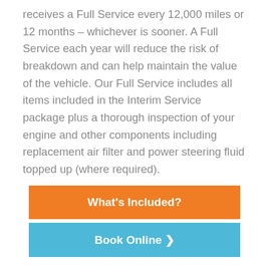receives a Full Service every 12,000 miles or 12 months – whichever is sooner. A Full Service each year will reduce the risk of breakdown and can help maintain the value of the vehicle. Our Full Service includes all items included in the Interim Service package plus a thorough inspection of your engine and other components including replacement air filter and power steering fluid topped up (where required).
What's Included?
Book Online >
Combine your Peugeot 307 Service with an MOT and save
Your Peugeot 307 must receive an MOT test every